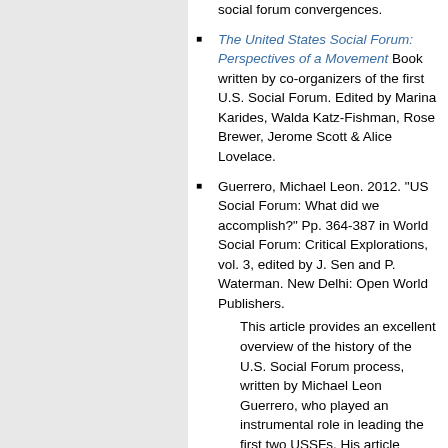The United States Social Forum: Perspectives of a Movement Book written by co-organizers of the first U.S. Social Forum. Edited by Marina Karides, Walda Katz-Fishman, Rose Brewer, Jerome Scott & Alice Lovelace.
Guerrero, Michael Leon. 2012. "US Social Forum: What did we accomplish?" Pp. 364-387 in World Social Forum: Critical Explorations, vol. 3, edited by J. Sen and P. Waterman. New Delhi: Open World Publishers.
This article provides an excellent overview of the history of the U.S. Social Forum process, written by Michael Leon Guerrero, who played an instrumental role in leading the first two USSFs. His article reports on the lessons from the first USSF in Atlanta and the